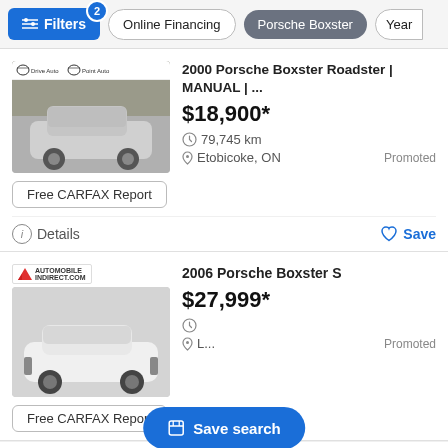Filters | Online Financing | Porsche Boxster | Year
[Figure (screenshot): Silver 2000 Porsche Boxster Roadster car photo with dealer logos]
2000 Porsche Boxster Roadster | MANUAL | ...
$18,900*
79,745 km
Etobicoke, ON
Promoted
Free CARFAX Report
Details   Save
[Figure (screenshot): White 2006 Porsche Boxster S car photo with Automobile Indirect dealer logo]
2006 Porsche Boxster S
$27,999*
Promoted
Free CARFAX Report
Save search
Details